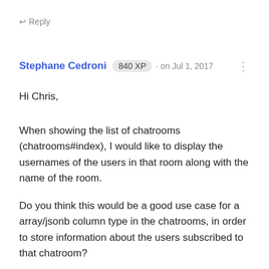↩ Reply
Stephane Cedroni 840 XP · on Jul 1, 2017
Hi Chris,
When showing the list of chatrooms (chatrooms#index), I would like to display the usernames of the users in that room along with the name of the room.
Do you think this would be a good use case for a array/jsonb column type in the chatrooms, in order to store information about the users subscribed to that chatroom?
That would avoid extra table joins on the users